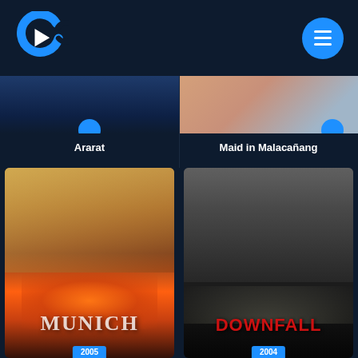[Figure (logo): Streaming app logo: blue C-shaped arc with white play triangle, on dark navy background]
[Figure (screenshot): Partially visible movie card labeled Ararat with blue circular button]
Ararat
[Figure (screenshot): Partially visible movie card labeled Maid in Malacañang with blue circular button]
Maid in Malacañang
[Figure (photo): Movie poster for Munich - man with gun against warm orange/fire background with title MUNICH]
[Figure (photo): Movie poster for Downfall - man in military cap in black and white with title DOWNFALL in red]